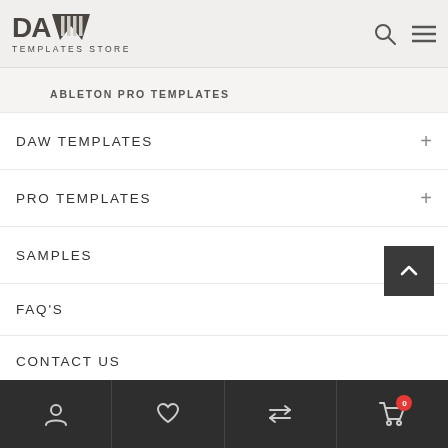[Figure (logo): DAW Templates Store logo with stylized text and vertical bars icon]
ABLETON PRO TEMPLATES
DAW TEMPLATES
PRO TEMPLATES
SAMPLES
FAQ'S
CONTACT US
[Figure (screenshot): Bottom navigation bar with account, wishlist, compare, and cart icons on dark background]